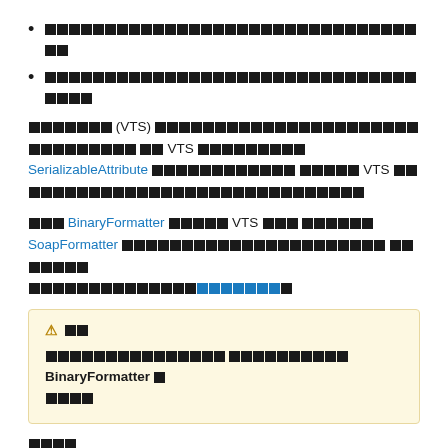□□□□□□□□□□□□□□□□□□□□□□□□□□□□□□□□□
□□□□□□□□□□□□□□□□□□□□□□□□□□□□□□□□□□
□□□□□□□ (VTS) □□□□□□□□□□□□□□□□□□□□□□□□□□□□□□□□□□□ □□ VTS □□□□□□□□□ SerializableAttribute □□□□□□□□□□□□ □□□□□ VTS □□□□□□□□□□□□□□□□□□□□□□□□□□□□□
□□□ BinaryFormatter □□□□□ VTS □□□ □□□□□□ SoapFormatter □□□□□□□□□□□□□□□□□□□□□□ □□□□□□□ □□□□□□□□□□□□□□□□□□□□
⚠ □□
□□□□□□□□□□□□□□□ □□□□□□□□□□ BinaryFormatter □ □□□□
□□□□